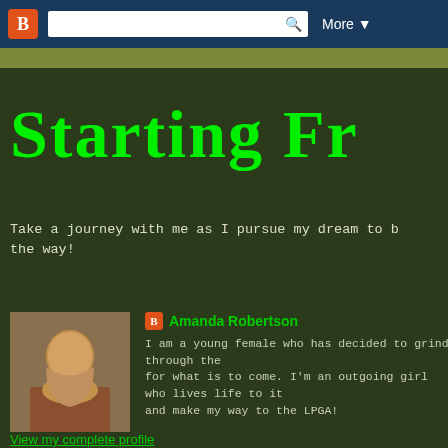[Figure (screenshot): Blogger navigation bar with orange Blogger icon, search input field with magnifying glass, and 'More' dropdown button on dark blue background]
Starting Fr
Take a journey with me as I pursue my dream to b the way!
Amanda Robertson
I am a young female who has decided to grind through the for what is to come. I'm an outgoing girl who lives life to it and make my way to the LPGA!
View my complete profile